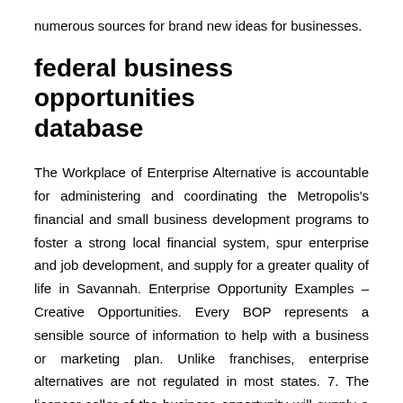numerous sources for brand new ideas for businesses.
federal business opportunities database
The Workplace of Enterprise Alternative is accountable for administering and coordinating the Metropolis's financial and small business development programs to foster a strong local financial system, spur enterprise and job development, and supply for a greater quality of life in Savannah. Enterprise Opportunity Examples – Creative Opportunities. Every BOP represents a sensible source of information to help with a business or marketing plan. Unlike franchises, enterprise alternatives are not regulated in most states. 7. The licensor-seller of the business opportunity will supply a gross sales or advertising program for the licensee-buyer that many times will